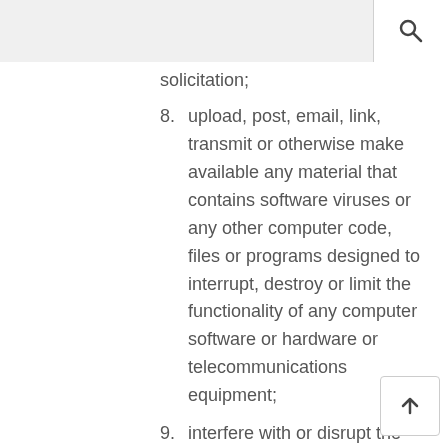solicitation;
8. upload, post, email, link, transmit or otherwise make available any material that contains software viruses or any other computer code, files or programs designed to interrupt, destroy or limit the functionality of any computer software or hardware or telecommunications equipment;
9. interfere with or disrupt the Service or servers or networks connected to the Service, or disobey any requirements, procedures, policies or regulations of networks connected to the Service;
10. intentionally or unintentionally